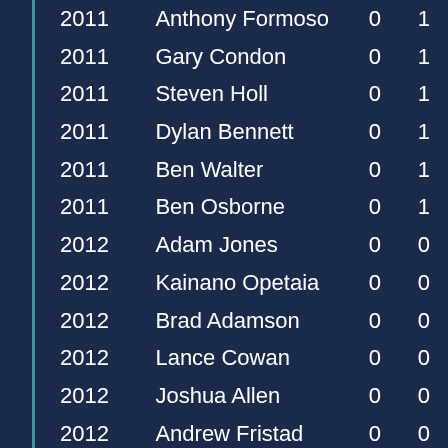| Year | Name | Col3 | Col4 |
| --- | --- | --- | --- |
| 2011 | Anthony Formoso | 0 | 1 |
| 2011 | Gary Condon | 0 | 1 |
| 2011 | Steven Holl | 0 | 1 |
| 2011 | Dylan Bennett | 0 | 1 |
| 2011 | Ben Walter | 0 | 1 |
| 2011 | Ben Osborne | 0 | 1 |
| 2012 | Adam Jones | 0 | 0 |
| 2012 | Kainano Opetaia | 0 | 0 |
| 2012 | Brad Adamson | 0 | 0 |
| 2012 | Lance Cowan | 0 | 0 |
| 2012 | Joshua Allen | 0 | 0 |
| 2012 | Andrew Fristad | 0 | 0 |
| 2012 | Korie Morris | 0 | 0 |
| 2012 | Stanford Wanganeen | 0 | 0 |
| 2012 | Adam L Matthews | 0 | 0 |
| 2012 | Brad McGrath | 0 | 0 |
| 2013 | Daniel Oostveen | 0 | 0 |
| 2014 | Chris Shortland | 0 | 0 |